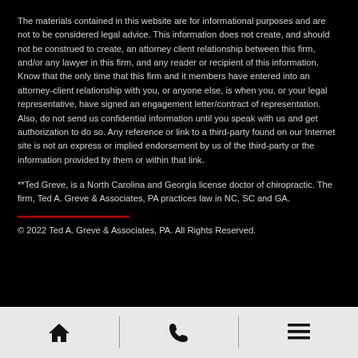The materials contained in this website are for informational purposes and are not to be considered legal advice.  This information does not create, and should not be construed to create, an attorney client relationship between this firm, and/or any lawyer in this firm, and any reader or recipient of this information.  Know that the only time that this firm and it members have entered into an attorney-client relationship with you, or anyone else, is when you, or your legal representative, have signed an engagement letter/contract of representation.  Also, do not send us confidential information until you speak with us and get authorization to do so. Any reference or link to a third-party found on our Internet site is not an express or implied endorsement by us of the third-party or the information provided by them or within that link.
**Ted Greve, is a North Carolina and Georgia license doctor of chiropractic.  The firm, Ted A. Greve & Associates, PA practices law in NC, SC and GA.
© 2022 Ted A. Greve & Associates, PA. All Rights Reserved.